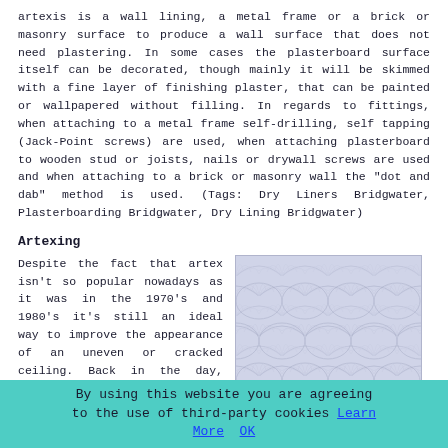artexis is a wall lining, a metal frame or a brick or masonry surface to produce a wall surface that does not need plastering. In some cases the plasterboard surface itself can be decorated, though mainly it will be skimmed with a fine layer of finishing plaster, that can be painted or wallpapered without filling. In regards to fittings, when attaching to a metal frame self-drilling, self tapping (Jack-Point screws) are used, when attaching plasterboard to wooden stud or joists, nails or drywall screws are used and when attaching to a brick or masonry wall the "dot and dab" method is used. (Tags: Dry Liners Bridgwater, Plasterboarding Bridgwater, Dry Lining Bridgwater)
Artexing
Despite the fact that artex isn't so popular nowadays as it was in the 1970's and 1980's it's still an ideal way to improve the appearance of an uneven or cracked ceiling. Back in the day, there were so many tradesmen carrying out
[Figure (photo): Close-up photo of artex ceiling pattern showing overlapping scallop/fan-shaped decorative texture in light grey/blue tones]
By using this website you are agreeing to the use of third-party cookies Learn More  OK